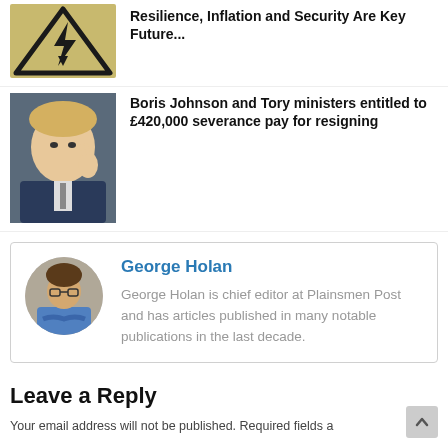[Figure (illustration): Yellow warning triangle with lightning bolt / electricity hazard symbol]
Resilience, Inflation and Security Are Key Future...
[Figure (photo): Photo of Boris Johnson waving]
Boris Johnson and Tory ministers entitled to £420,000 severance pay for resigning
[Figure (photo): Circular avatar photo of George Holan, a man in a blue shirt with arms crossed]
George Holan
George Holan is chief editor at Plainsmen Post and has articles published in many notable publications in the last decade.
Leave a Reply
Your email address will not be published. Required fields a